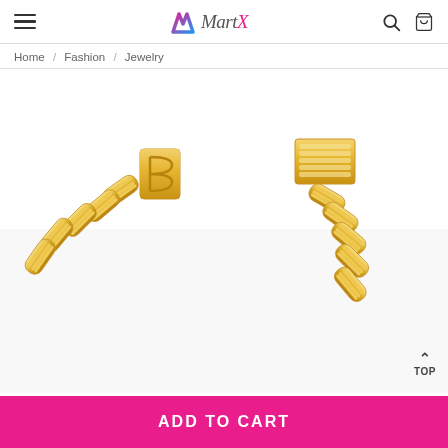MartX — navigation header with hamburger menu, logo, search and cart icons
Home / Fashion / Jewelry
[Figure (photo): Close-up photo of a gold diamond-encrusted Cuban link bracelet with baguette diamonds, showing the clasp mechanism on both ends against a white background.]
ADD TO CART